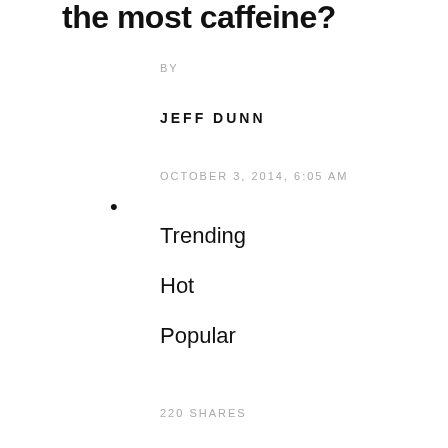the most caffeine?
BY
JEFF DUNN
OCTOBER 3, 2014, 6:05 AM
Trending
Hot
Popular
[Figure (screenshot): Screen Shot 2016-03-29 at 4.20.11 PM]
220 SHARES